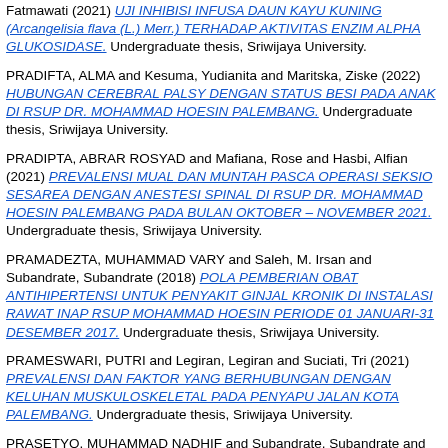Fatmawati (2021) UJI INHIBISI INFUSA DAUN KAYU KUNING (Arcangelisia flava (L.) Merr.) TERHADAP AKTIVITAS ENZIM ALPHA GLUKOSIDASE. Undergraduate thesis, Sriwijaya University.
PRADIFTA, ALMA and Kesuma, Yudianita and Maritska, Ziske (2022) HUBUNGAN CEREBRAL PALSY DENGAN STATUS BESI PADA ANAK DI RSUP DR. MOHAMMAD HOESIN PALEMBANG. Undergraduate thesis, Sriwijaya University.
PRADIPTA, ABRAR ROSYAD and Mafiana, Rose and Hasbi, Alfian (2021) PREVALENSI MUAL DAN MUNTAH PASCA OPERASI SEKSIO SESAREA DENGAN ANESTESI SPINAL DI RSUP DR. MOHAMMAD HOESIN PALEMBANG PADA BULAN OKTOBER – NOVEMBER 2021. Undergraduate thesis, Sriwijaya University.
PRAMADEZTA, MUHAMMAD VARY and Saleh, M. Irsan and Subandrate, Subandrate (2018) POLA PEMBERIAN OBAT ANTIHIPERTENSI UNTUK PENYAKIT GINJAL KRONIK DI INSTALASI RAWAT INAP RSUP MOHAMMAD HOESIN PERIODE 01 JANUARI-31 DESEMBER 2017. Undergraduate thesis, Sriwijaya University.
PRAMESWARI, PUTRI and Legiran, Legiran and Suciati, Tri (2021) PREVALENSI DAN FAKTOR YANG BERHUBUNGAN DENGAN KELUHAN MUSKULOSKELETAL PADA PENYAPU JALAN KOTA PALEMBANG. Undergraduate thesis, Sriwijaya University.
PRASETYO, MUHAMMAD NADHIF and Subandrate, Subandrate and Sinulingga, Sadakata (2022) PENGARUH SUHU PENYIMPANAN TERHADAP KADAR PROTEIN DAN LEMAK DI DALAM ASI PERAH. Undergraduate thesis, Sriwijaya University.